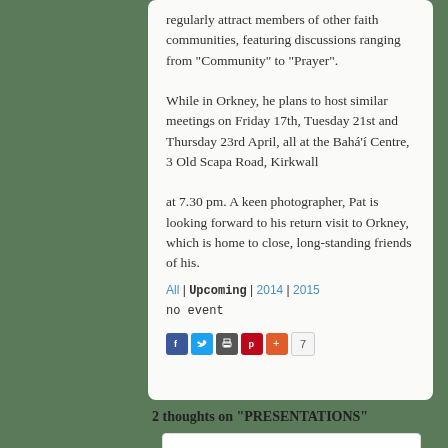regularly attract members of other faith communities, featuring discussions ranging from “Community” to “Prayer”. While in Orkney, he plans to host similar meetings on Friday 17th, Tuesday 21st and Thursday 23rd April, all at the Baháʾí Centre, 3 Old Scapa Road, Kirkwall at 7.30 pm. A keen photographer, Pat is looking forward to his return visit to Orkney, which is home to close, long-standing friends of his.
All | Upcoming | 2014 | 2015
no event
[Figure (infographic): Social sharing buttons: Facebook, Twitter, Print/Share, Pinterest, Plus, and a count badge showing 7]
2 thoughts on “PRESENTATIONS”